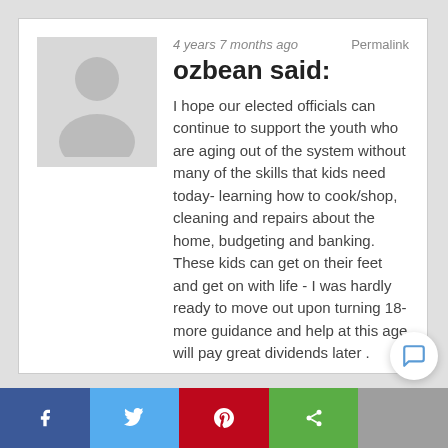[Figure (illustration): Grey placeholder avatar silhouette image]
4 years 7 months ago
Permalink
ozbean said:
I hope our elected officials can continue to support the youth who are aging out of the system without many of the skills that kids need today- learning how to cook/shop, cleaning and repairs about the home, budgeting and banking. These kids can get on their feet and get on with life - I was hardly ready to move out upon turning 18- more guidance and help at this age will pay great dividends later .